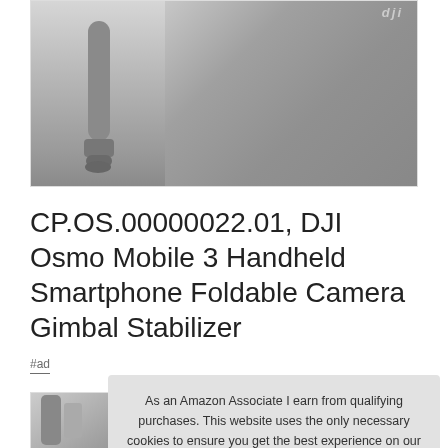[Figure (photo): Product photo showing two items: a dark gray cylindrical DJI Osmo gimbal handle on the left, and a dark gray fabric carry pouch/bag with DJI logo on the right, displayed against a white background with a light border]
CP.OS.00000022.01, DJI Osmo Mobile 3 Handheld Smartphone Foldable Camera Gimbal Stabilizer
#ad
[Figure (photo): Partial product image visible behind cookie consent overlay, showing bottom portion of DJI Osmo Mobile 3 gimbal]
As an Amazon Associate I earn from qualifying purchases. This website uses the only necessary cookies to ensure you get the best experience on our website. More information